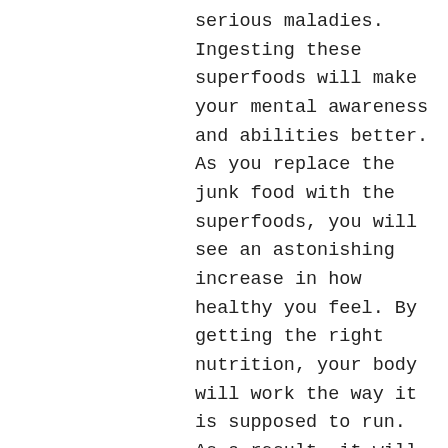serious maladies. Ingesting these superfoods will make your mental awareness and abilities better. As you replace the junk food with the superfoods, you will see an astonishing increase in how healthy you feel. By getting the right nutrition, your body will work the way it is supposed to run. As a result, it will help your immune system to ward off disease more efficiently. You have to include a number of superfoods in your diet everyday. To start with, beans are great, and berries, in particular blueberries. Leagy greens, such as broccoli, spinach, and green tea. Whole grains, and oats, plus a variety of nuts, primarily